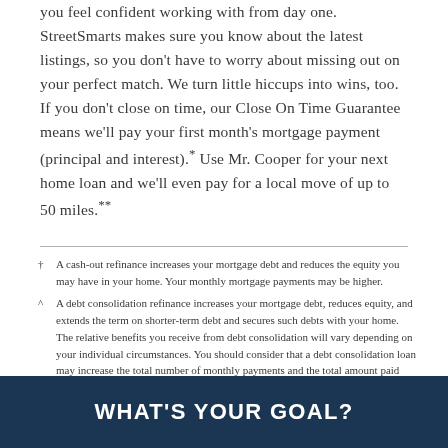you feel confident working with from day one. StreetSmarts makes sure you know about the latest listings, so you don't have to worry about missing out on your perfect match. We turn little hiccups into wins, too. If you don't close on time, our Close On Time Guarantee means we'll pay your first month's mortgage payment (principal and interest).* Use Mr. Cooper for your next home loan and we'll even pay for a local move of up to 50 miles.**
† A cash-out refinance increases your mortgage debt and reduces the equity you may have in your home. Your monthly mortgage payments may be higher.
^ A debt consolidation refinance increases your mortgage debt, reduces equity, and extends the term on shorter-term debt and secures such debts with your home. The relative benefits you receive from debt consolidation will vary depending on your individual circumstances. You should consider that a debt consolidation loan may increase the total number of monthly payments and the total amount paid over the term of the loan. To enjoy the benefits of a debt consolidation loan, you should not carry new credit card or high interest rate debt.
WHAT'S YOUR GOAL?